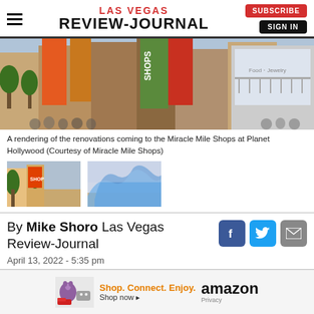LAS VEGAS REVIEW-JOURNAL | SUBSCRIBE | SIGN IN
[Figure (photo): Exterior rendering of Miracle Mile Shops at Planet Hollywood showing colorful banners and signage with shoppers outside]
A rendering of the renovations coming to the Miracle Mile Shops at Planet Hollywood (Courtesy of Miracle Mile Shops)
[Figure (photo): Thumbnail 1: Exterior rendering of shopping center with palm trees]
[Figure (photo): Thumbnail 2: Rendering of blue wavy architectural feature]
By Mike Shoro Las Vegas Review-Journal
April 13, 2022 - 5:35 pm
[Figure (infographic): Amazon advertisement: Shop. Connect. Enjoy. Shop now. Amazon. Privacy.]